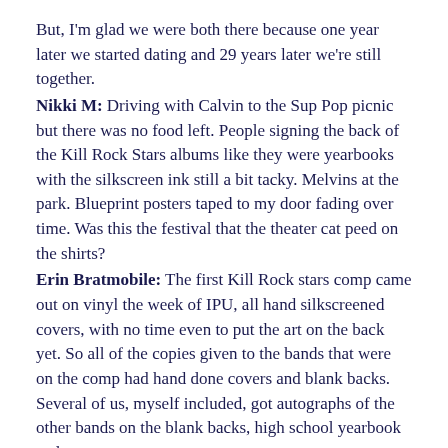But, I'm glad we were both there because one year later we started dating and 29 years later we're still together.
Nikki M: Driving with Calvin to the Sup Pop picnic but there was no food left. People signing the back of the Kill Rock Stars albums like they were yearbooks with the silkscreen ink still a bit tacky. Melvins at the park. Blueprint posters taped to my door fading over time. Was this the festival that the theater cat peed on the shirts?
Erin Bratmobile: The first Kill Rock stars comp came out on vinyl the week of IPU, all hand silkscreened covers, with no time even to put the art on the back yet. So all of the copies given to the bands that were on the comp had hand done covers and blank backs. Several of us, myself included, got autographs of the other bands on the blank backs, high school yearbook style.
Tobi Bikini Kill: The first Kill Rock Stars compilation came out at IPU. The front was silkscreened and the